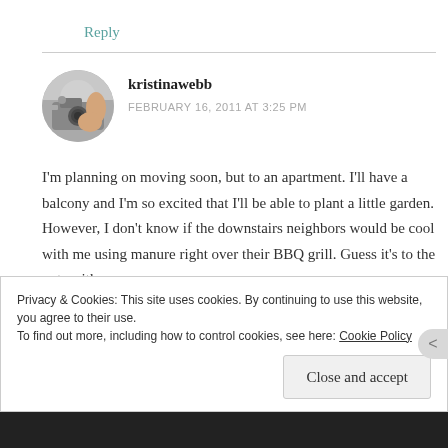Reply
[Figure (photo): Circular avatar photo of a person holding a camera]
kristinawebb
FEBRUARY 16, 2011 AT 3:25 PM
I'm planning on moving soon, but to an apartment. I'll have a balcony and I'm so excited that I'll be able to plant a little garden. However, I don't know if the downstairs neighbors would be cool with me using manure right over their BBQ grill. Guess it's to the pots with me.
Privacy & Cookies: This site uses cookies. By continuing to use this website, you agree to their use.
To find out more, including how to control cookies, see here: Cookie Policy
Close and accept